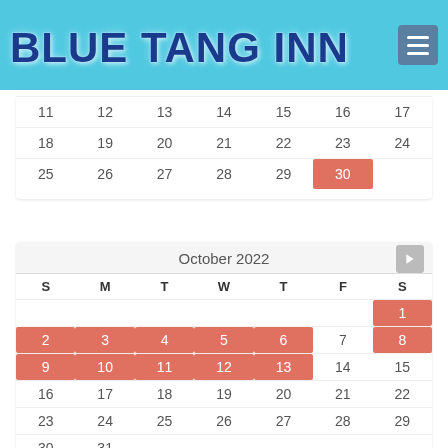Blue Tang Inn
[Figure (other): Partial calendar showing September 2022 rows with dates 11-17, 18-24, 25-30. Date 30 is highlighted in red/salmon.]
[Figure (other): October 2022 calendar with days of week S M T W T F S. Highlighted dates: 1, 2, 3, 4, 5, 6, 8, 9, 10, 11, 12, 13. Non-highlighted: 7, 14, 15, 16-31.]